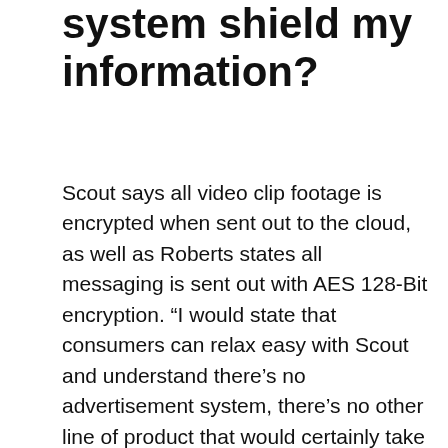system shield my information?
Scout says all video clip footage is encrypted when sent out to the cloud, as well as Roberts states all messaging is sent out with AES 128-Bit encryption. “I would state that consumers can relax easy with Scout and understand there’s no advertisement system, there’s no other line of product that would certainly take advantage of the information of what’s going on inside your home, and we’re very sensitive about that,” said Roberts. Yet due to the fact that Scout is so conveniently integrated with other devices, it’s still beneficial to read the privacy plan as well as terms of other third parties to comprehend much better what